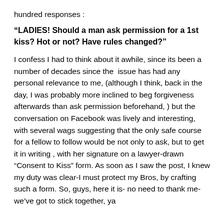hundred responses :
“LADIES! Should a man ask permission for a 1st kiss? Hot or not? Have rules changed?”
I confess I had to think about it awhile, since its been a number of decades since the  issue has had any personal relevance to me, (although I think, back in the day, I was probably more inclined to beg forgiveness afterwards than ask permission beforehand, ) but the conversation on Facebook was lively and interesting, with several wags suggesting that the only safe course for a fellow to follow would be not only to ask, but to get it in writing , with her signature on a lawyer-drawn “Consent to Kiss” form. As soon as I saw the post, I knew my duty was clear-I must protect my Bros, by crafting such a form. So, guys, here it is- no need to thank me- we’ve got to stick together, ya